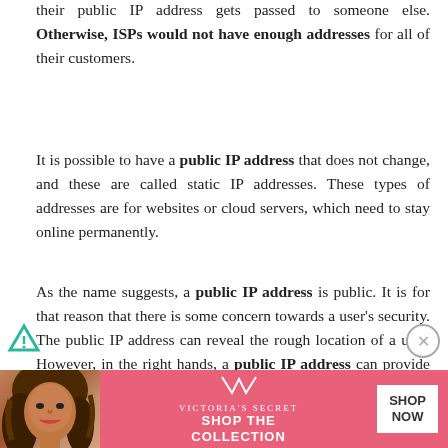their public IP address gets passed to someone else. Otherwise, ISPs would not have enough addresses for all of their customers.
It is possible to have a public IP address that does not change, and these are called static IP addresses. These types of addresses are for websites or cloud servers, which need to stay online permanently.
As the name suggests, a public IP address is public. It is for that reason that there is some concern towards a user's security. The public IP address can reveal the rough location of a user. However, in the right hands, a public IP address can provide more info than that. A hacker can use a public IP address to build a profile of a user.
A VPN service can give you some comfort if you are
[Figure (other): Victoria's Secret advertisement banner with model photo, VS logo, 'SHOP THE COLLECTION' text, and 'SHOP NOW' button]